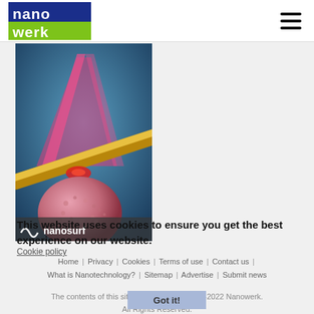nanowerk [logo] | hamburger menu
[Figure (illustration): Scientific illustration showing a metallic cantilever tip (AFM probe) over a pink textured spherical nanoparticle, with pink laser beams in a V-shape above, on a blue background. Nanosurf logo overlay at bottom of image.]
This website uses cookies to ensure you get the best experience on our website.
Cookie policy
Home | Privacy | Cookies | Terms of use | Contact us | What is Nanotechnology? | Sitemap | Advertise | Submit news
The contents of this site are copyright ©2001-2022 Nanowerk. All Rights Reserved.